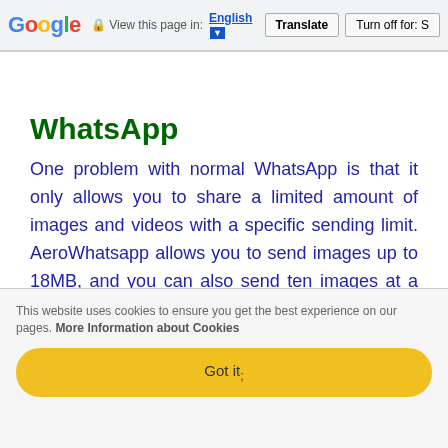Google  View this page in: English [▼]  Translate  Turn off for: S
WhatsApp
One problem with normal WhatsApp is that it only allows you to share a limited amount of images and videos with a specific sending limit. AeroWhatsapp allows you to send images up to 18MB, and you can also send ten images at a time.
The previous 15MB limit has doubled in terms of
This website uses cookies to ensure you get the best experience on our pages. More Information about Cookies
Got it;